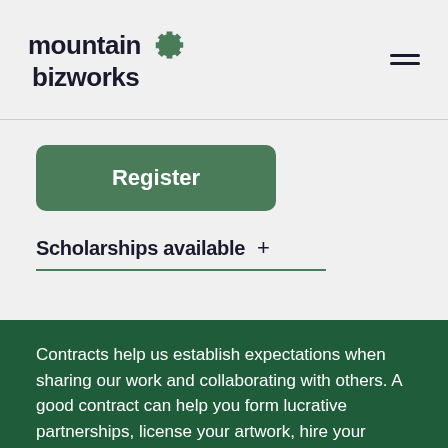mountain bizworks
[Figure (logo): Mountain Bizworks logo with gear icon and hamburger menu on the right]
Register
Scholarships available +
Contracts help us establish expectations when sharing our work and collaborating with others. A good contract can help you form lucrative partnerships, license your artwork, hire your first employees, negotiate raises and licenses...